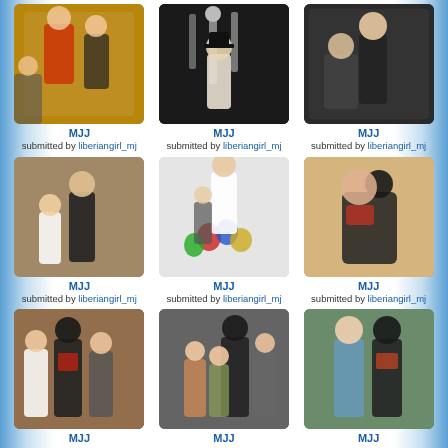[Figure (photo): Photo 1 - MJJ, submitted by liberiangirl_mj]
MJJ
submitted by liberiangirl_mj
[Figure (photo): Photo 2 - MJJ, submitted by liberiangirl_mj]
MJJ
submitted by liberiangirl_mj
[Figure (photo): Photo 3 - MJJ, submitted by liberiangirl_mj]
MJJ
submitted by liberiangirl_mj
[Figure (photo): Photo 4 - MJJ, submitted by liberiangirl_mj]
MJJ
submitted by liberiangirl_mj
[Figure (photo): Photo 5 - MJJ, submitted by liberiangirl_mj]
MJJ
submitted by liberiangirl_mj
[Figure (photo): Photo 6 - MJJ, submitted by liberiangirl_mj]
MJJ
submitted by liberiangirl_mj
[Figure (photo): Photo 7 - MJJ, submitted by liberiangirl_mj]
MJJ
submitted by liberiangirl_mj
[Figure (photo): Photo 8 - MJJ, submitted by liberiangirl_mj]
MJJ
submitted by liberiangirl_mj
[Figure (photo): Photo 9 - MJJ, submitted by liberiangirl_mj]
MJJ
submitted by liberiangirl_mj
[Figure (photo): Photo 10 - partial]
[Figure (photo): Photo 11 - partial]
[Figure (photo): Photo 12 - partial]